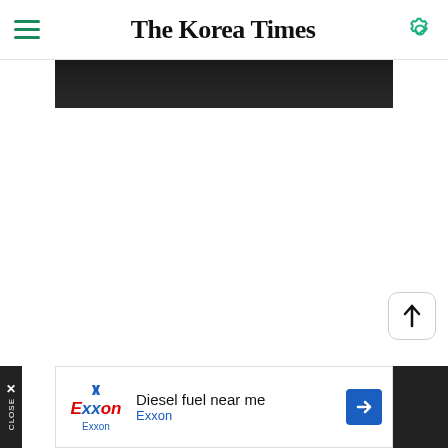The Korea Times
[Figure (screenshot): Partial hero image strip showing a dark/black photograph cropped at the top]
[Figure (other): Slideshow pagination dots: one green active dot followed by three grey dots]
[Figure (other): Scroll-to-top button with upward arrow]
[Figure (other): Advertisement banner: Exxon ad with text 'Diesel fuel near me' and 'Exxon', with blue direction arrow icon, and a CLOSE button on the left side]